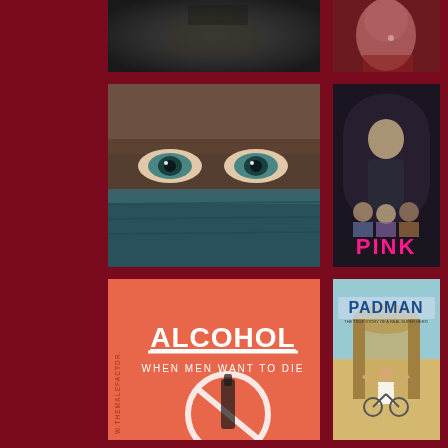[Figure (photo): Dark, blurry close-up photo, top-left cell]
[Figure (photo): Close-up of a woman's face with nose ring and red-toned makeup, top-right cell]
[Figure (photo): Close-up of a woman's eyes with teal fabric covering lower face, middle-left cell]
[Figure (photo): Movie poster for 'PINK' featuring an elderly man in suit and three women below, in hot pink bold letters, middle-right cell]
[Figure (photo): Coral/salmon colored graphic with white bold text 'ALCOHOL / WHEN MEN WANT TO DIE' and a prohibition symbol, with 'W.THEMALEFACTOR' text vertically on left side, lower-left cell]
[Figure (photo): Movie poster for 'PADMAN' with a man on bicycle with arms raised, in front of ancient ruins, lower-right cell]
[Figure (photo): Partial photo at bottom-left, person in light colored clothing outdoors]
[Figure (photo): Partial photo at bottom-right, trees/forest scene]